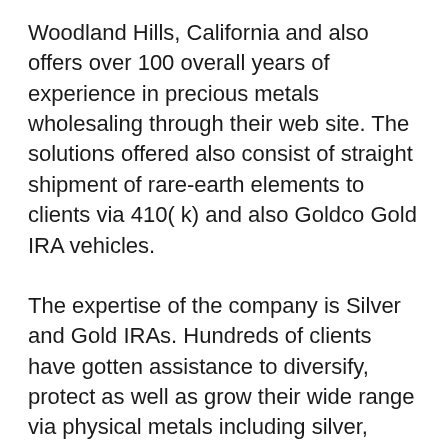Woodland Hills, California and also offers over 100 overall years of experience in precious metals wholesaling through their web site. The solutions offered also consist of straight shipment of rare-earth elements to clients via 410( k) and also Goldco Gold IRA vehicles.
The expertise of the company is Silver and Gold IRAs. Hundreds of clients have gotten assistance to diversify, protect as well as grow their wide range via physical metals including silver, gold, palladium and also platinum. The company takes satisfaction in guaranteeing its clients get superb customer care as well as has actually attained an online reputation for both outstanding instructional sources and also very high